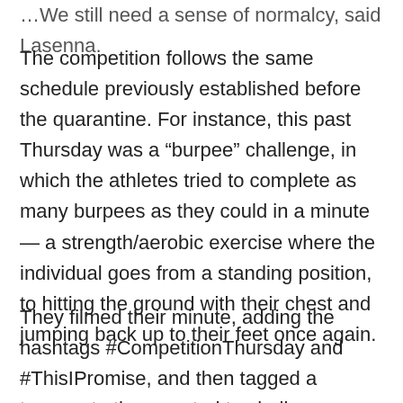…We still need a sense of normalcy, said Lasenna.
The competition follows the same schedule previously established before the quarantine. For instance, this past Thursday was a “burpee” challenge, in which the athletes tried to complete as many burpees as they could in a minute — a strength/aerobic exercise where the individual goes from a standing position, to hitting the ground with their chest and jumping back up to their feet once again.
They filmed their minute, adding the hashtags #CompetitionThursday and #ThisIPromise, and then tagged a teammate they wanted to challenge.